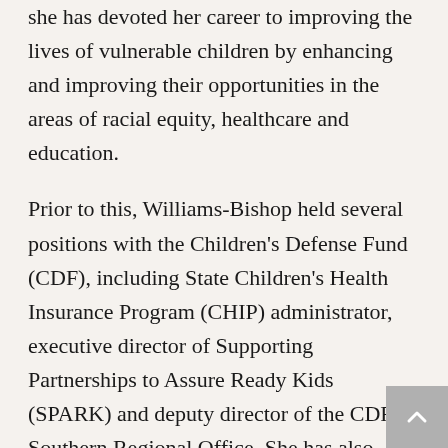she has devoted her career to improving the lives of vulnerable children by enhancing and improving their opportunities in the areas of racial equity, healthcare and education.
Prior to this, Williams-Bishop held several positions with the Children's Defense Fund (CDF), including State Children's Health Insurance Program (CHIP) administrator, executive director of Supporting Partnerships to Assure Ready Kids (SPARK) and deputy director of the CDF Southern Regional Office. She has also served as the Kids Count State Coordinator. In the aftermath of Hurricane Katrina, she worked to ensure that children